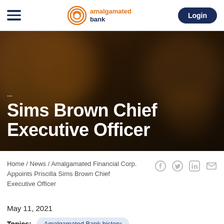Amalgamated Bank — Navigation bar with hamburger menu, logo, and Login button
[Figure (photo): Dark brown/amber blurred background hero image with large white bold text reading 'Sims Brown Chief Executive Officer' partially visible (top line partially cropped)]
Sims Brown Chief Executive Officer
Home / News / Amalgamated Financial Corp. Appoints Priscilla Sims Brown Chief Executive Officer
May 11, 2021
Topics: Amalgamated Bank history